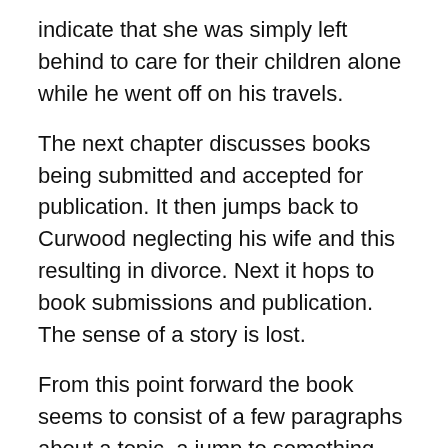indicate that she was simply left behind to care for their children alone while he went off on his travels.
The next chapter discusses books being submitted and accepted for publication. It then jumps back to Curwood neglecting his wife and this resulting in divorce. Next it hops to book submissions and publication. The sense of a story is lost.
From this point forward the book seems to consist of a few paragraphs about a topic, a jump to something else that may have already been covered, and then another jump. For example:
A three-month trip to the wilderness with his brother
The offer from the Canadian government to pay him to explore and write about it
A trip to the next Canada...